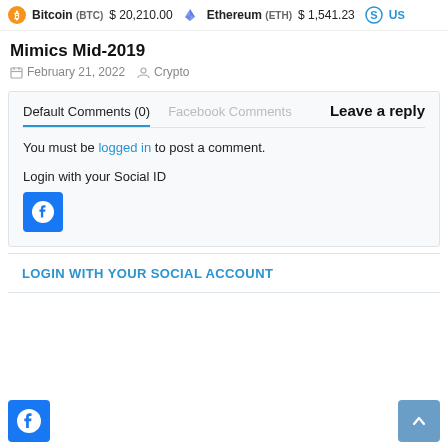Bitcoin (BTC) $20,210.00  Ethereum (ETH) $1,541.23  USD
Mimics Mid-2019
February 21, 2022  Crypto
Default Comments (0)  Facebook Comments  Leave a reply
You must be logged in to post a comment.
Login with your Social ID
[Figure (logo): Facebook login button (blue square with white F icon)]
LOGIN WITH YOUR SOCIAL ACCOUNT
Facebook icon button (left) | Scroll to top button (right)